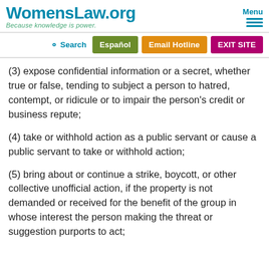WomensLaw.org — Because knowledge is power. | Menu
Search | Español | Email Hotline | EXIT SITE
(3) expose confidential information or a secret, whether true or false, tending to subject a person to hatred, contempt, or ridicule or to impair the person's credit or business repute;
(4) take or withhold action as a public servant or cause a public servant to take or withhold action;
(5) bring about or continue a strike, boycott, or other collective unofficial action, if the property is not demanded or received for the benefit of the group in whose interest the person making the threat or suggestion purports to act;